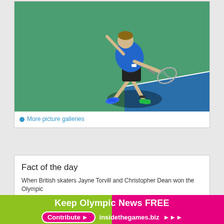[Figure (photo): Tennis player mid-serve on a hard court, wearing blue shirt and black shorts, holding a tennis racket, with a green and blue court surface visible]
More picture galleries
Fact of the day
When British skaters Jayne Torvill and Christopher Dean won the Olympic
Keep Olympic News FREE
Contribute > insidethegames.biz >>>